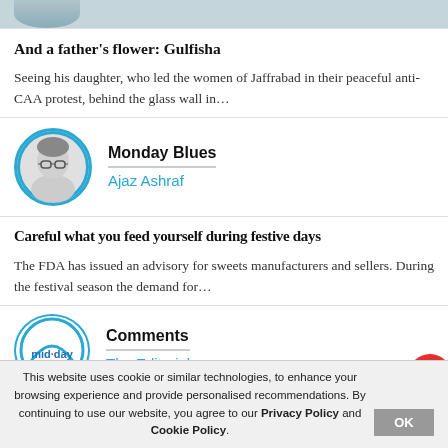[Figure (photo): Partial view of a person's photo at the top of the page, cropped]
And a father’s flower: Gulfisha
Seeing his daughter, who led the women of Jaffrabad in their peaceful anti-CAA protest, behind the glass wall in…
[Figure (photo): Black and white portrait photo of Ajaz Ashraf, an older man with glasses, in a circular avatar]
Monday Blues
Ajaz Ashraf
Careful what you feed yourself during festive days
The FDA has issued an advisory for sweets manufacturers and sellers. During the festival season the demand for…
[Figure (logo): mid-day logo in circular avatar with blue border]
Comments
The Editorial
This website uses cookie or similar technologies, to enhance your browsing experience and provide personalised recommendations. By continuing to use our website, you agree to our Privacy Policy and Cookie Policy.